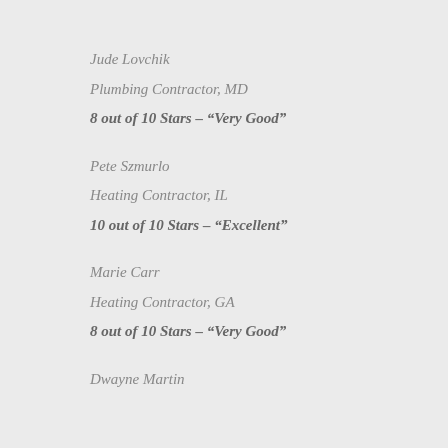Jude Lovchik
Plumbing Contractor, MD
8 out of 10 Stars – "Very Good"
Pete Szmurlo
Heating Contractor, IL
10 out of 10 Stars – "Excellent"
Marie Carr
Heating Contractor, GA
8 out of 10 Stars – "Very Good"
Dwayne Martin